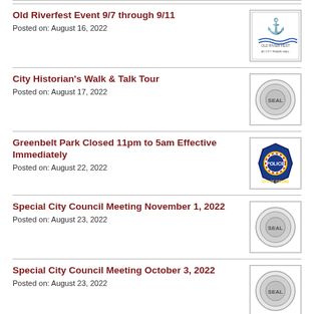Old Riverfest Event 9/7 through 9/11
Posted on: August 16, 2022
City Historian's Walk & Talk Tour
Posted on: August 17, 2022
Greenbelt Park Closed 11pm to 5am Effective Immediately
Posted on: August 22, 2022
Special City Council Meeting November 1, 2022
Posted on: August 23, 2022
Special City Council Meeting October 3, 2022
Posted on: August 23, 2022